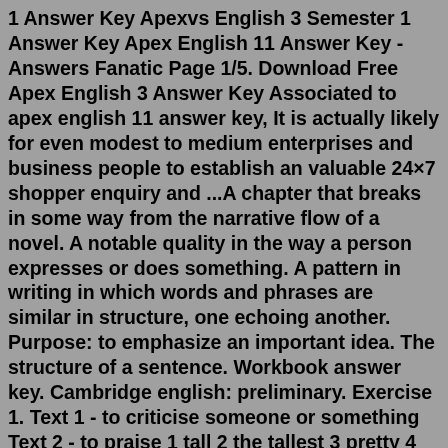1 Answer Key Apexvs English 3 Semester 1 Answer Key Apex English 11 Answer Key - Answers Fanatic Page 1/5. Download Free Apex English 3 Answer Key Associated to apex english 11 answer key, It is actually likely for even modest to medium enterprises and business people to establish an valuable 24×7 shopper enquiry and ...A chapter that breaks in some way from the narrative flow of a novel. A notable quality in the way a person expresses or does something. A pattern in writing in which words and phrases are similar in structure, one echoing another. Purpose: to emphasize an important idea. The structure of a sentence. Workbook answer key. Cambridge english: preliminary. Exercise 1. Text 1 - to criticise someone or something Text 2 - to praise 1 tall 2 the tallest 3 pretty 4 prettier 5 more expensive 6 the most expensive 7 interesting 8 the most interesting 9 difficult 10 more difficult 11 better 12 the best 13...4000 words answer key/Words.1_keys.doc 4000 Essential English Words 1 - Answer Key. Unit 1. Exercise 1. 5. He only rented a few sweet at a time. Th